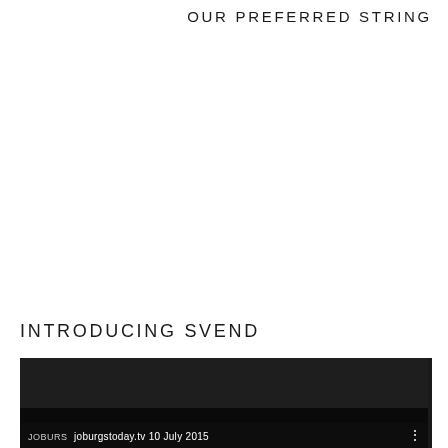OUR PREFERRED STRING
INTRODUCING SVEND
[Figure (screenshot): Dark screenshot of a video player showing a video from joburgstoday.tv dated 10 July 2015, with a three-dot menu icon on the right.]
JOBURS joburgstoday.tv 10 July 2015